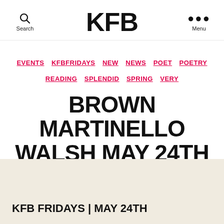Search  KFB  Menu
EVENTS  KFBFRIDAYS  NEW  NEWS  POET  POETRY  READING  SPLENDID  SPRING  VERY
BROWN MARTINELLO WALSH MAY 24TH
May 19, 2019  No Comments
KFB FRIDAYS | MAY 24TH